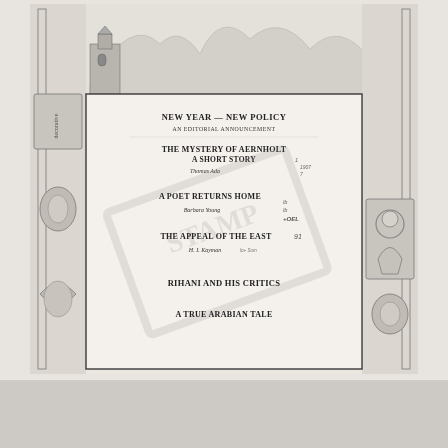[Figure (illustration): Scanned book or magazine cover page with decorative illustrated border featuring architectural scenes, mountains, figures including a robed figure (Jesus/saint), floral ornaments, and a central text panel listing article titles and authors. A watermark/stamp overlay is visible diagonally across the center panel. Handwritten annotations appear beside some entries.]